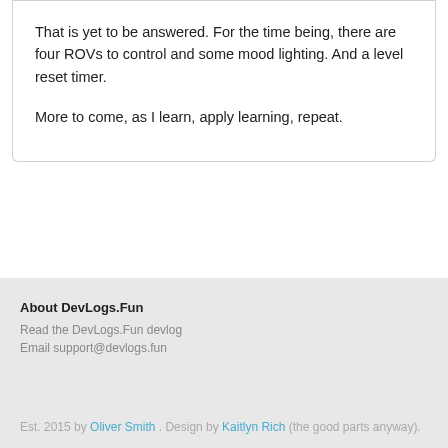That is yet to be answered. For the time being, there are four ROVs to control and some mood lighting. And a level reset timer.
More to come, as I learn, apply learning, repeat.
About DevLogs.Fun
Read the DevLogs.Fun devlog
Email support@devlogs.fun
Est. 2015 by Oliver Smith . Design by Kaitlyn Rich (the good parts anyway).